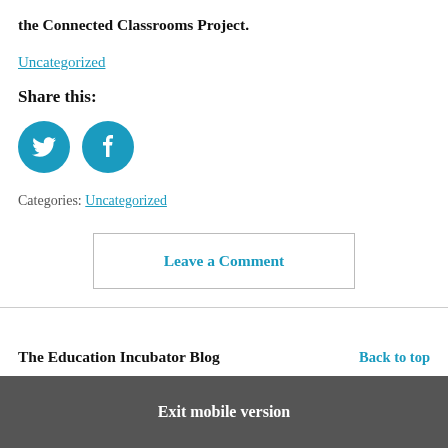the Connected Classrooms Project.
Uncategorized
Share this:
[Figure (illustration): Twitter and Facebook social share icon buttons, circular blue icons with white bird and 'f' logos respectively]
Categories: Uncategorized
Leave a Comment
The Education Incubator Blog
Back to top
Exit mobile version